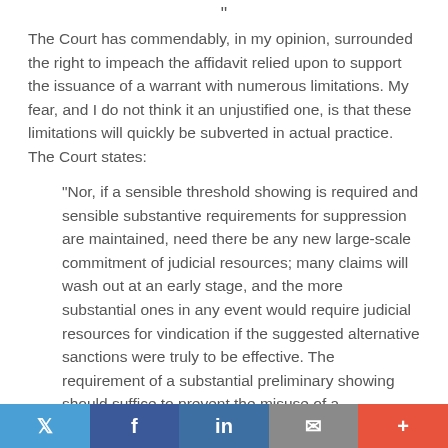The Court has commendably, in my opinion, surrounded the right to impeach the affidavit relied upon to support the issuance of a warrant with numerous limitations. My fear, and I do not think it an unjustified one, is that these limitations will quickly be subverted in actual practice. The Court states:
"Nor, if a sensible threshold showing is required and sensible substantive requirements for suppression are maintained, need there be any new large-scale commitment of judicial resources; many claims will wash out at an early stage, and the more substantial ones in any event would require judicial resources for vindication if the suggested alternative sanctions were truly to be effective. The requirement of a substantial preliminary showing should suffice to prevent the misuse of a
Twitter Facebook in Email +